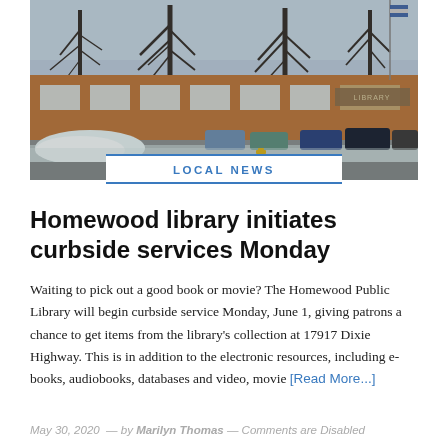[Figure (photo): Exterior photo of Homewood Public Library building in winter with snow on the ground and bare trees in front. Brick building with parking lot visible.]
LOCAL NEWS
Homewood library initiates curbside services Monday
Waiting to pick out a good book or movie? The Homewood Public Library will begin curbside service Monday, June 1, giving patrons a chance to get items from the library's collection at 17917 Dixie Highway. This is in addition to the electronic resources, including e-books, audiobooks, databases and video, movie [Read More...]
May 30, 2020  —  by Marilyn Thomas  —  Comments are Disabled